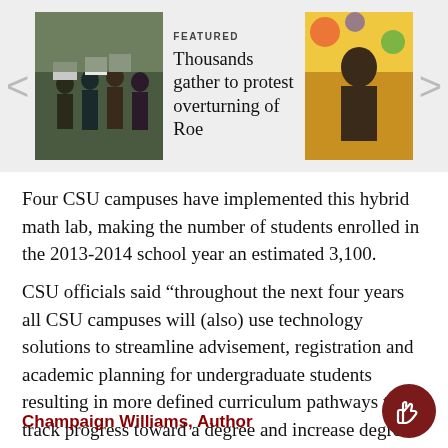[Figure (photo): Featured news carousel showing two thumbnail photos. Left thumbnail: people holding protest signs (related to Roe v. Wade). Right thumbnail: people with colorful background. Navigation arrows on left and right sides. Featured label above headline text 'Thousands gather to protest overturning of Roe'.]
Four CSU campuses have implemented this hybrid math lab, making the number of students enrolled in the 2013-2014 school year an estimated 3,100.
CSU officials said “throughout the next four years all CSU campuses will (also) use technology solutions to streamline advisement, registration and academic planning for undergraduate students resulting in more defined curriculum pathways to track progress toward a degree and increase degree completion rates.”
Champaign Williams, Author